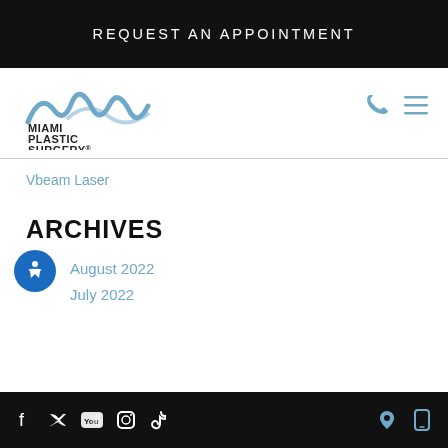REQUEST AN APPOINTMENT
[Figure (logo): Miami Plastic Surgery MPS Medspa logo with stylized mountain/wave mark in blue]
Vbeam Laser
ARCHIVES
August 2022
July 2022
Social media icons: Facebook, Twitter, YouTube, Instagram, TikTok | Location icon | Mobile icon